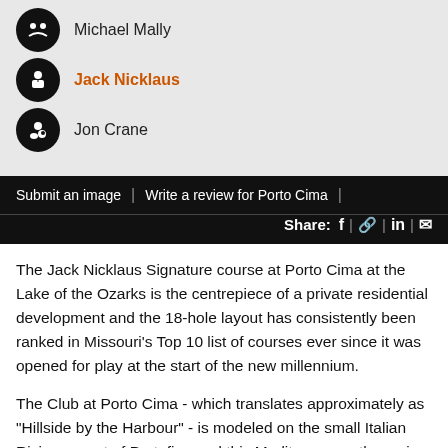Michael Mally
Jack Nicklaus
Jon Crane
Submit an image | Write a review for Porto Cima |
Share: f | in |
The Jack Nicklaus Signature course at Porto Cima at the Lake of the Ozarks is the centrepiece of a private residential development and the 18-hole layout has consistently been ranked in Missouri’s Top 10 list of courses ever since it was opened for play at the start of the new millennium.
The Club at Porto Cima - which translates approximately as “Hillside by the Harbour” - is modeled on the small Italian Riviera resort of Portofino and this Mediterranean theme is one of the many unique aspects that set the place apart as one of the finest golf and boat facilities in the Midwest of America.
The course weaves its way through a dense oak forest and fairways rise and fall over an undulating landscape, particularly on